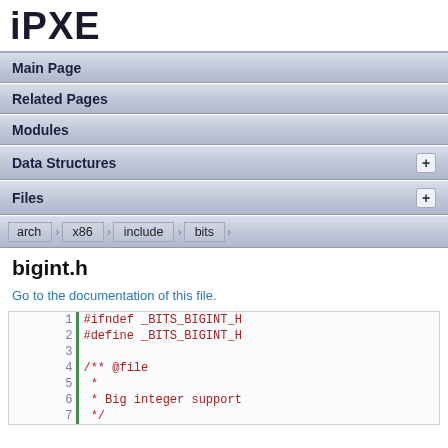iPXE
Main Page
Related Pages
Modules
Data Structures
Files
arch  x86  include  bits
bigint.h
Go to the documentation of this file.
| line | code |
| --- | --- |
| 1 | #ifndef _BITS_BIGINT_H |
| 2 | #define _BITS_BIGINT_H |
| 3 |  |
| 4 | /** @file |
| 5 |  * |
| 6 |  * Big integer support |
| 7 |  */ |